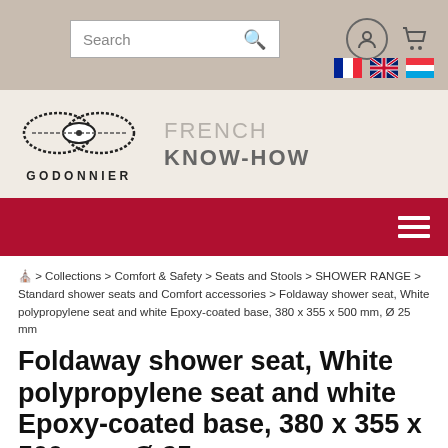[Figure (screenshot): Website top bar with search box, user icon, and cart icon on a tan/beige background]
[Figure (logo): Godonnier logo with interlocking oval shapes and text 'GODONNIER' and 'FRENCH KNOW-HOW']
[Figure (other): Dark red navigation bar with hamburger menu icon on the right]
⌂ > Collections > Comfort & Safety > Seats and Stools > SHOWER RANGE > Standard shower seats and Comfort accessories > Foldaway shower seat, White polypropylene seat and white Epoxy-coated base, 380 x 355 x 500 mm, Ø 25 mm
Foldaway shower seat, White polypropylene seat and white Epoxy-coated base, 380 x 355 x 500 mm, Ø 25 mm